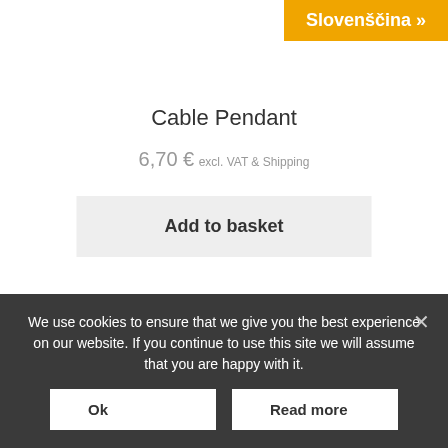Slovenščina »
Cable Pendant
6,70 € excl. VAT & Shipping
Add to basket
We use cookies to ensure that we give you the best experience on our website. If you continue to use this site we will assume that you are happy with it.
Ok
Read more